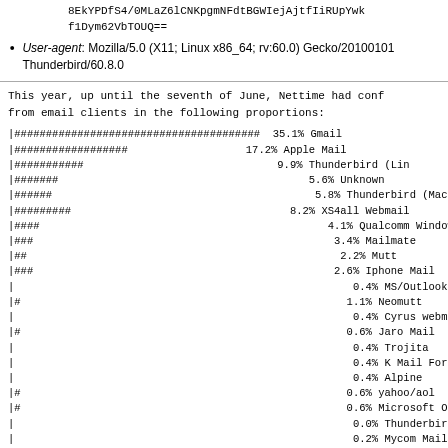8EkYPDfS4/0MLaZ6lCNKpgmNFdtBGWIejAjtfIiRUpYwk
f1Dym62VbTOUQ==
User-agent: Mozilla/5.0 (X11; Linux x86_64; rv:60.0) Gecko/20100101 Thunderbird/60.8.0
This year, up until the seventh of June, Nettime had conf
from email clients in the following proportions:
[Figure (bar-chart): Email client proportions]